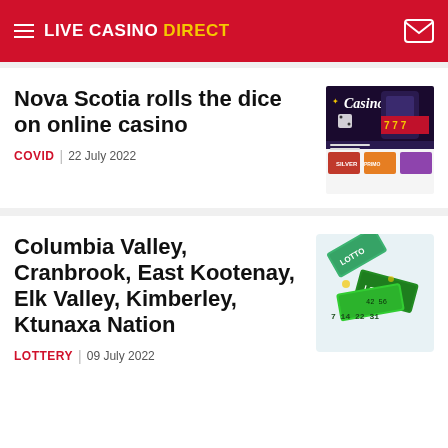LIVE CASINO DIRECT
Nova Scotia rolls the dice on online casino
COVID | 22 July 2022
[Figure (screenshot): Casino online gaming screenshot showing casino games interface]
Columbia Valley, Cranbrook, East Kootenay, Elk Valley, Kimberley, Ktunaxa Nation
LOTTERY | 09 July 2022
[Figure (photo): Lottery tickets with green color shown scattered on white background]